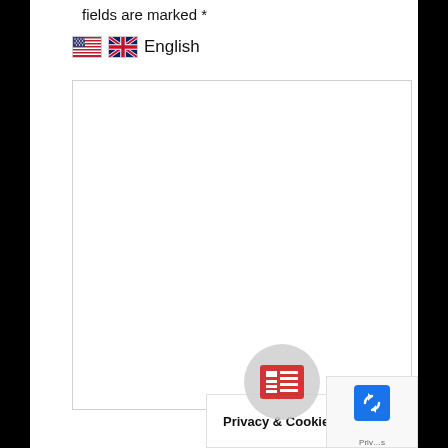fields are marked *
[Figure (illustration): Two overlapping flag icons: US flag and UK flag side by side]
English
[Figure (screenshot): Large empty white text area input box with light grey border]
[Figure (other): News/document icon in red inside a light grey circle overlay]
Privacy & Cookies Policy
[Figure (other): reCAPTCHA widget with blue button and recycle arrows icon, partial view]